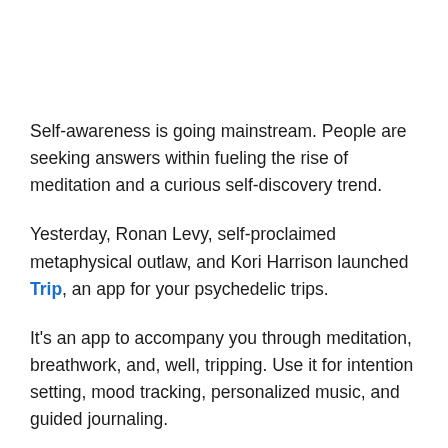Self-awareness is going mainstream. People are seeking answers within fueling the rise of meditation and a curious self-discovery trend.
Yesterday, Ronan Levy, self-proclaimed metaphysical outlaw, and Kori Harrison launched Trip, an app for your psychedelic trips.
It's an app to accompany you through meditation, breathwork, and, well, tripping. Use it for intention setting, mood tracking, personalized music, and guided journaling.
While not openly mentioned, psychedelics have been around for years and many people you probably have heard of such